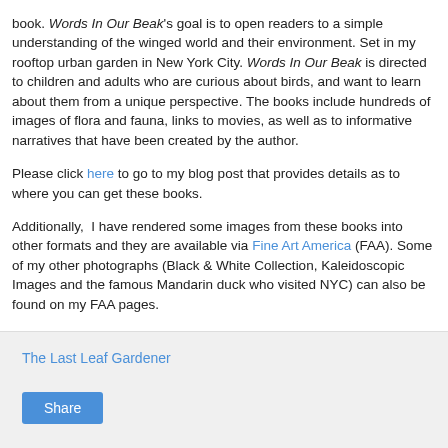book. Words In Our Beak's goal is to open readers to a simple understanding of the winged world and their environment. Set in my rooftop urban garden in New York City. Words In Our Beak is directed to children and adults who are curious about birds, and want to learn about them from a unique perspective. The books include hundreds of images of flora and fauna, links to movies, as well as to informative narratives that have been created by the author.
Please click here to go to my blog post that provides details as to where you can get these books.
Additionally, I have rendered some images from these books into other formats and they are available via Fine Art America (FAA). Some of my other photographs (Black & White Collection, Kaleidoscopic Images and the famous Mandarin duck who visited NYC) can also be found on my FAA pages.
The Last Leaf Gardener